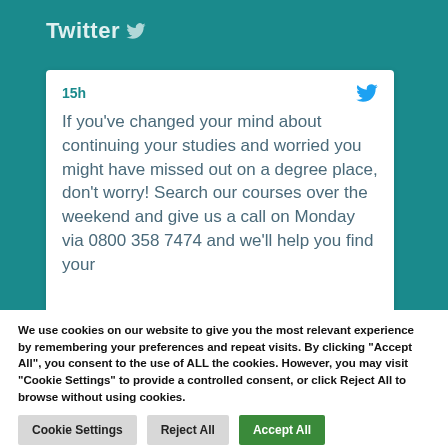Twitter
15h
If you've changed your mind about continuing your studies and worried you might have missed out on a degree place, don't worry! Search our courses over the weekend and give us a call on Monday via 0800 358 7474 and we'll help you find your
We use cookies on our website to give you the most relevant experience by remembering your preferences and repeat visits. By clicking "Accept All", you consent to the use of ALL the cookies. However, you may visit "Cookie Settings" to provide a controlled consent, or click Reject All to browse without using cookies.